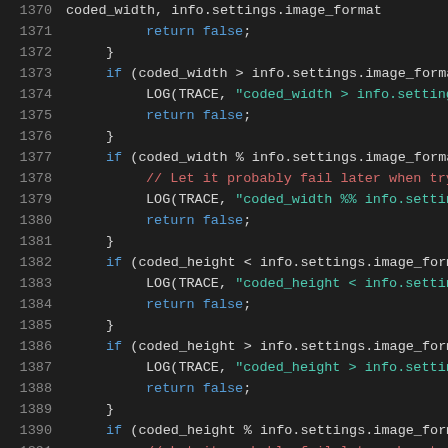[Figure (screenshot): Source code viewer showing C++ code lines 1370-1391 with syntax highlighting on dark background. Lines show conditional checks on coded_width and coded_height against info.settings.image_format values, with LOG(TRACE,...) calls and return false statements.]